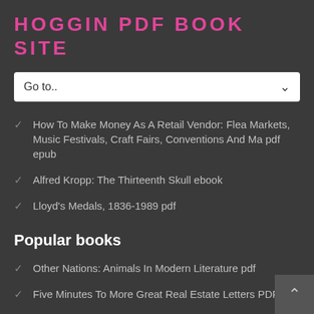HOGGIN PDF BOOK SITE
Go to..
How To Make Money As A Retail Vendor: Flea Markets, Music Festivals, Craft Fairs, Conventions And Ma pdf epub
Alfred Kropp: The Thirteenth Skull ebook
Lloyd's Medals, 1836-1989 pdf
Popular books
Other Nations: Animals In Modern Literature pdf
Five Minutes To More Great Real Estate Letters PDF
The Mage And The Magpie: Magemother Book 1 (A Kids Fantasy Adventure Book Series For Teens And Young pdf